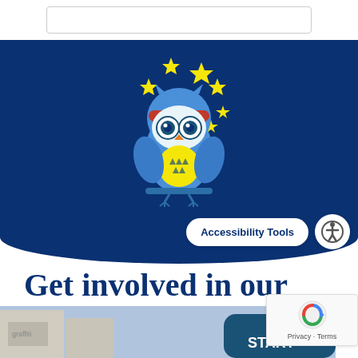[Figure (illustration): A cartoon owl mascot with blue feathers, large goggle-like eyes, red headband, yellow belly with triangle markings, perched on a branch, surrounded by yellow stars on a dark navy blue background]
Accessibility Tools
Get involved in our events
[Figure (photo): Bottom strip showing a street scene with buildings and a blue inflatable structure with text START visible]